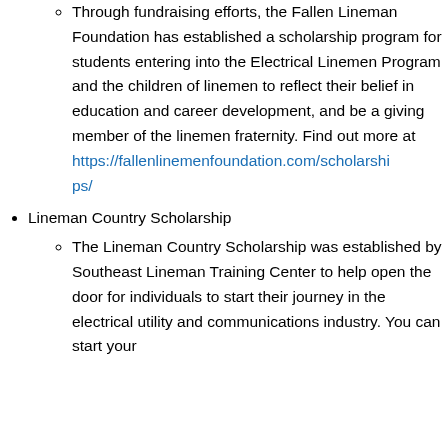Through fundraising efforts, the Fallen Lineman Foundation has established a scholarship program for students entering into the Electrical Linemen Program and the children of linemen to reflect their belief in education and career development, and be a giving member of the linemen fraternity. Find out more at https://fallenlinemenfoundation.com/scholarships/
Lineman Country Scholarship
The Lineman Country Scholarship was established by Southeast Lineman Training Center to help open the door for individuals to start their journey in the electrical utility and communications industry. You can start your